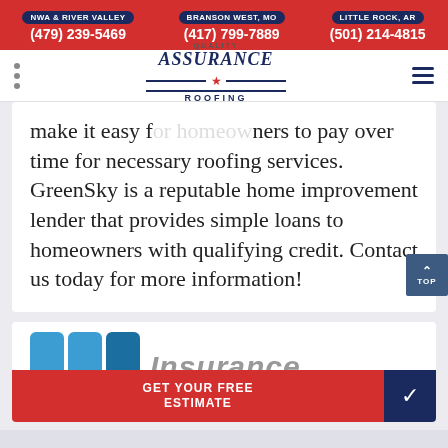NWA & RIVER VALLEY (479) 239-5469 | BRANSON WEST, MO (417) 799-7889 | LITTLE ROCK, AR (501) 214-4815
[Figure (logo): Quality Assurance Roofing logo with navy text and red star accent]
make it easy for homeowners to pay over time for necessary roofing services. GreenSky is a reputable home improvement lender that provides simple loans to homeowners with qualifying credit. Contact us today for more information!
[Figure (photo): State Farm insurance logo — blue geometric blocks above the word Insurance]
GET YOUR FREE ESTIMATE